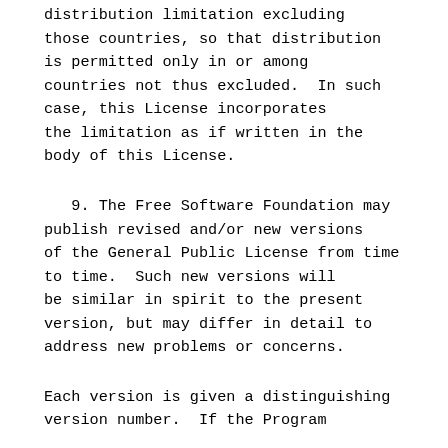distribution limitation excluding those countries, so that distribution is permitted only in or among countries not thus excluded.  In such case, this License incorporates the limitation as if written in the body of this License.
9. The Free Software Foundation may publish revised and/or new versions of the General Public License from time to time.  Such new versions will be similar in spirit to the present version, but may differ in detail to address new problems or concerns.
Each version is given a distinguishing version number.  If the Program